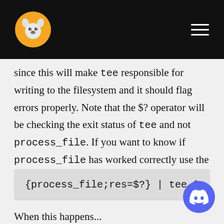[Navigation bar with dog logo and hamburger menu]
since this will make tee responsible for writing to the filesystem and it should flag errors properly. Note that the $? operator will be checking the exit status of tee and not process_file. If you want to know if process_file has worked correctly use the list operator described previously:
{process_file;res=$?} | tee $o
When this happens...